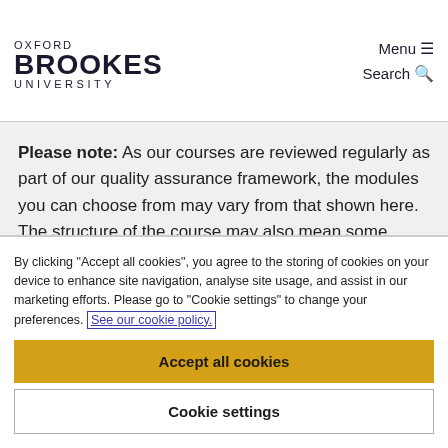OXFORD BROOKES UNIVERSITY | Menu ☰ | Search 🔍
Please note: As our courses are reviewed regularly as part of our quality assurance framework, the modules you can choose from may vary from that shown here. The structure of the course may also mean some modules are not available to you.
By clicking "Accept all cookies", you agree to the storing of cookies on your device to enhance site navigation, analyse site usage, and assist in our marketing efforts. Please go to "Cookie settings" to change your preferences. See our cookie policy.
Accept all cookies
Cookie settings